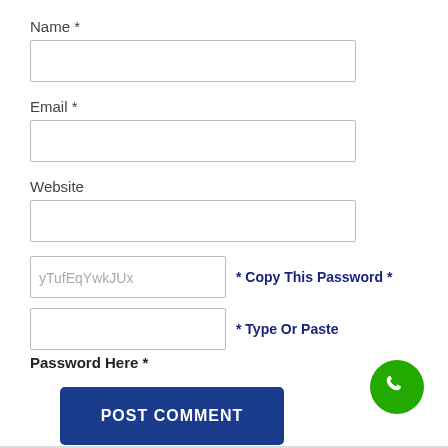Name *
Email *
Website
yTufEqYwkJUx
* Copy This Password *
* Type Or Paste
Password Here *
POST COMMENT
[Figure (illustration): Green circle phone/call button icon in bottom right corner]